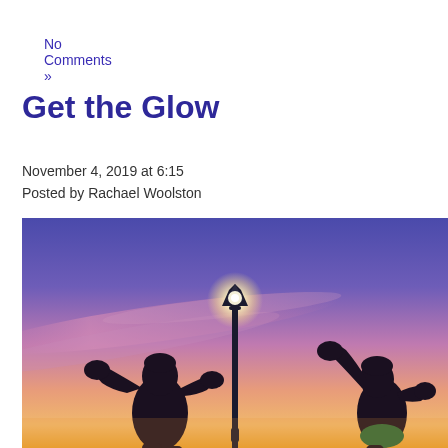No Comments »
Get the Glow
November 4, 2019 at 6:15
Posted by Rachael Woolston
[Figure (photo): Silhouettes of two boxers sparring at sunset/dusk with a lit street lamp in the center against a vivid purple, blue, pink and orange sky.]